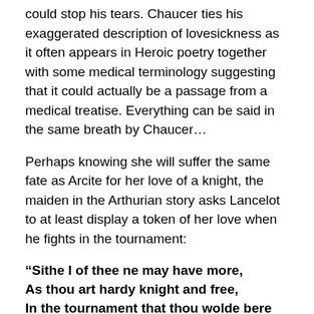could stop his tears. Chaucer ties his exaggerated description of lovesickness as it often appears in Heroic poetry together with some medical terminology suggesting that it could actually be a passage from a medical treatise. Everything can be said in the same breath by Chaucer…
Perhaps knowing she will suffer the same fate as Arcite for her love of a knight, the maiden in the Arthurian story asks Lancelot to at least display a token of her love when he fights in the tournament:
“Sithe I of thee ne may have more,
As thou art hardy knight and free,
In the tournament that thou wolde bere
Some sign of mine that men might see.”
“Lady, thy sleeve thou shalt of-shere;
I will it take for the love of thee;